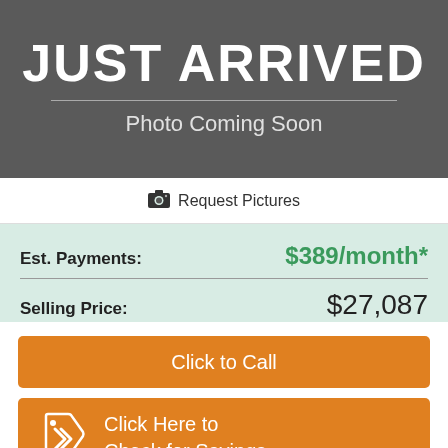[Figure (infographic): Dark grey banner with JUST ARRIVED text, horizontal divider, and Photo Coming Soon subtitle]
Request Pictures
| Est. Payments: | $389/month* |
| Selling Price: | $27,087 |
Click to Call
Click Here to Check for Savings